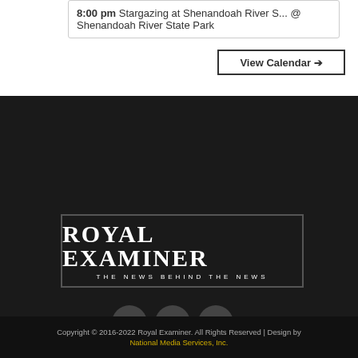8:00 pm Stargazing at Shenandoah River S... @ Shenandoah River State Park
View Calendar →
[Figure (logo): Royal Examiner logo — white text on dark background with border. Large serif text reads 'ROYAL EXAMINER', subtitle reads 'THE NEWS BEHIND THE NEWS']
[Figure (infographic): Three circular social media icons: Facebook (f), Twitter (bird), YouTube (play button)]
ABOUT US   TERMS OF SERVICE   PRIVACY POLICY   CONTACT US
Copyright © 2016-2022 Royal Examiner. All Rights Reserved | Design by National Media Services, Inc.